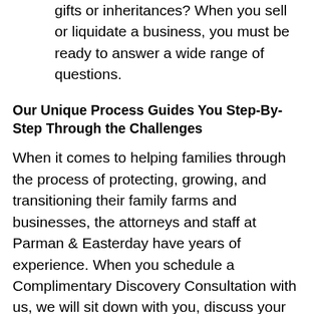gifts or inheritances? When you sell or liquidate a business, you must be ready to answer a wide range of questions.
Our Unique Process Guides You Step-By-Step Through the Challenges
When it comes to helping families through the process of protecting, growing, and transitioning their family farms and businesses, the attorneys and staff at Parman & Easterday have years of experience. When you schedule a Complimentary Discovery Consultation with us, we will sit down with you, discuss your concerns, evaluate your options, and give you the personalized advice and guidance you require.